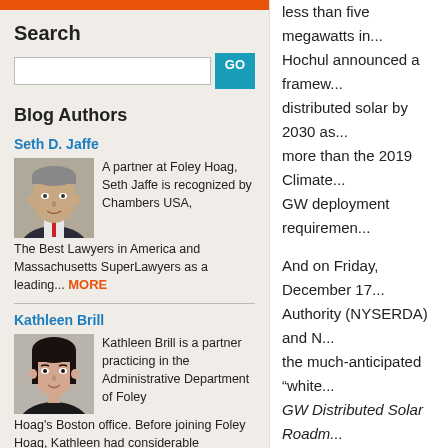Search
Blog Authors
Seth D. Jaffe
A partner at Foley Hoag, Seth Jaffe is recognized by Chambers USA, The Best Lawyers in America and Massachusetts SuperLawyers as a leading... MORE
Kathleen Brill
Kathleen Brill is a partner practicing in the Administrative Department of Foley Hoag's Boston office. Before joining Foley Hoag, Kathleen had considerable experience...MORE
less than five megawatts in... Hochul announced a framework... distributed solar by 2030 as... more than the 2019 Climate... GW deployment requirement...
And on Friday, December 17... Authority (NYSERDA) and N... the much-anticipated “white... GW Distributed Solar Roadm... Solar (the “Roadmap”). The... DPS docket, leading to an o... 2022. That order is expecte... direct NYSERDA and the st...
According to NYSERDA, the... percent of the six GWs cons... development. To reach 10 G... existing NY-Sun MW Block p... funding to last through the e... environmental value or “E-v...